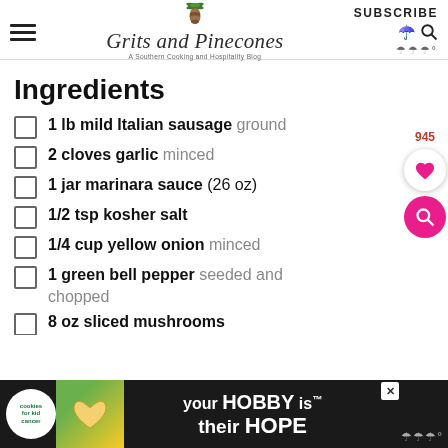Grits and Pinecones - A Southern Cooking and Hospitality Blog - SUBSCRIBE
Ingredients
1 lb mild Italian sausage ground
2 cloves garlic minced
1 jar marinara sauce (26 oz)
1/2 tsp kosher salt
1/4 cup yellow onion minced
1 green bell pepper seeded and chopped
8 oz sliced mushrooms
[Figure (infographic): Advertisement banner: cookies for kid cancer - your HOBBY is their HOPE]